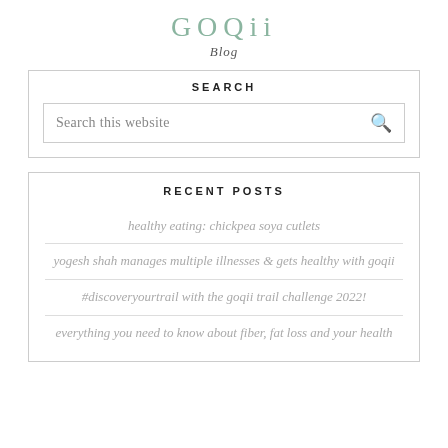GOQii Blog
SEARCH
Search this website
RECENT POSTS
healthy eating: chickpea soya cutlets
yogesh shah manages multiple illnesses & gets healthy with goqii
#discoveryourtrail with the goqii trail challenge 2022!
everything you need to know about fiber, fat loss and your health